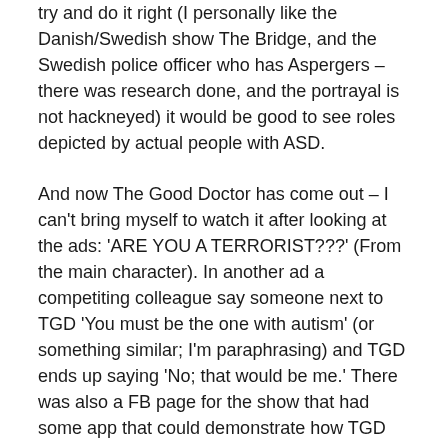try and do it right (I personally like the Danish/Swedish show The Bridge, and the Swedish police officer who has Aspergers – there was research done, and the portrayal is not hackneyed) it would be good to see roles depicted by actual people with ASD.
And now The Good Doctor has come out – I can't bring myself to watch it after looking at the ads: 'ARE YOU A TERRORIST???' (From the main character). In another ad a competiting colleague say someone next to TGD 'You must be the one with autism' (or something similar; I'm paraphrasing) and TGD ends up saying 'No; that would be me.' There was also a FB page for the show that had some app that could demonstrate how TGD and other autistic people saw things. It was a picture of a body that changed to x-Ray vision (guess which one we see).